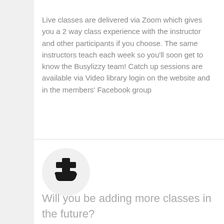Live classes are delivered via Zoom which gives you a 2 way class experience with the instructor and other participants if you choose. The same instructors teach each week so you'll soon get to know the Busylizzy team! Catch up sessions are available via Video library login on the website and in the members' Facebook group
[Figure (illustration): A medical/care icon showing a hand holding a plus/cross symbol, in black, inside a light gray circle]
Will you be adding more classes in the future?